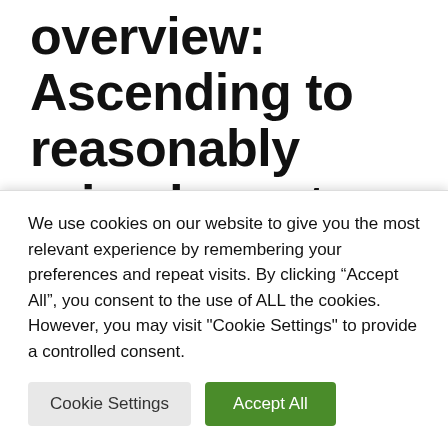overview: Ascending to reasonably priced sports activities automobile heaven
May 30, 2022 by Max Sky
A extra highly effective engine will increase
We use cookies on our website to give you the most relevant experience by remembering your preferences and repeat visits. By clicking “Accept All”, you consent to the use of ALL the cookies. However, you may visit "Cookie Settings" to provide a controlled consent.